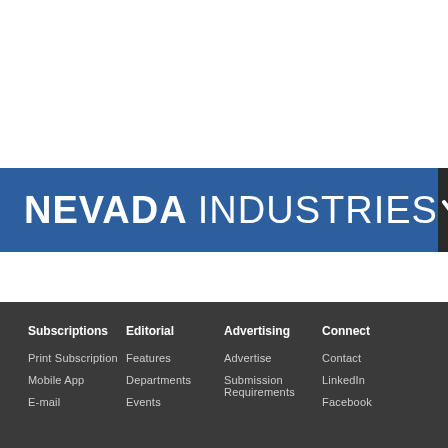NEVADA INDUSTRIES
Subscriptions | Editorial | Advertising | Connect
Print Subscription | Features | Advertise | Contact
Mobile App | Departments | Submission Requirements | LinkedIn
E-mail | Events | Facebook